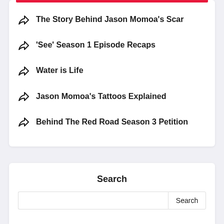The Story Behind Jason Momoa's Scar
'See' Season 1 Episode Recaps
Water is Life
Jason Momoa's Tattoos Explained
Behind The Red Road Season 3 Petition
Search